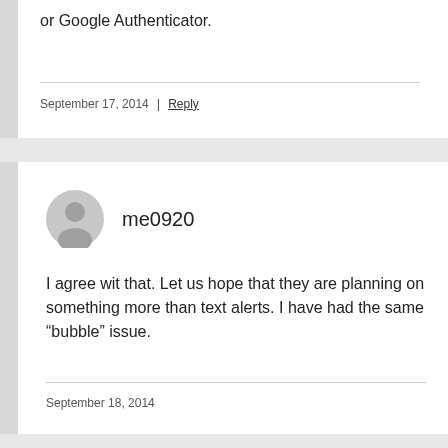or Google Authenticator.
September 17, 2014  |  Reply
me0920
I agree wit that. Let us hope that they are planning on something more than text alerts. I have had the same “bubble” issue.
September 18, 2014